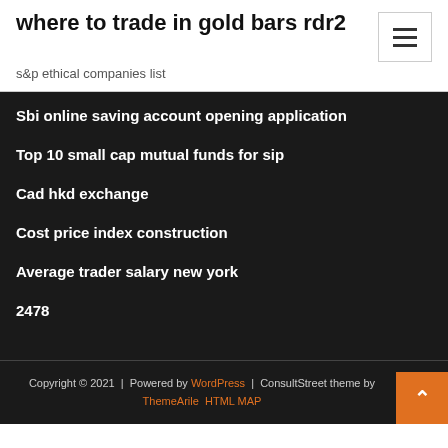where to trade in gold bars rdr2
s&p ethical companies list
Sbi online saving account opening application
Top 10 small cap mutual funds for sip
Cad hkd exchange
Cost price index construction
Average trader salary new york
2478
Copyright © 2021 | Powered by WordPress | ConsultStreet theme by ThemeArile HTML MAP